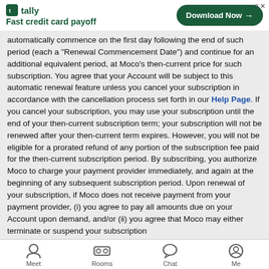[Figure (screenshot): Tally app advertisement banner showing logo, 'Fast credit card payoff' tagline, and 'Download Now' button]
automatically commence on the first day following the end of such period (each a "Renewal Commencement Date") and continue for an additional equivalent period, at Moco's then-current price for such subscription. You agree that your Account will be subject to this automatic renewal feature unless you cancel your subscription in accordance with the cancellation process set forth in our Help Page. If you cancel your subscription, you may use your subscription until the end of your then-current subscription term; your subscription will not be renewed after your then-current term expires. However, you will not be eligible for a prorated refund of any portion of the subscription fee paid for the then-current subscription period. By subscribing, you authorize Moco to charge your payment provider immediately, and again at the beginning of any subsequent subscription period. Upon renewal of your subscription, if Moco does not receive payment from your payment provider, (i) you agree to pay all amounts due on your Account upon demand, and/or (ii) you agree that Moco may either terminate or suspend your subscription
[Figure (screenshot): App navigation bar with Meet, Rooms, Chat, and Me icons]